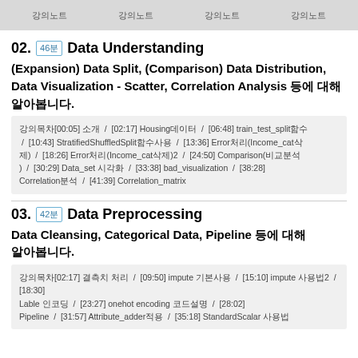강의노트  강의노트  강의노트  강의노트
02.  46분  Data Understanding
(Expansion) Data Split, (Comparison) Data Distribution, Data Visualization - Scatter, Correlation Analysis 등에 대해 알아봅니다.
강의목차[00:05] 소개  /  [02:17] Housing데이터  /  [06:48] train_test_split함수  /  [10:43] StratifiedShuffledSplit함수사용  /  [13:36] Error처리(Income_cat삭제)  /  [18:26] Error처리(Income_cat삭제)2  /  [24:50] Comparison(비교분석)  /  [30:29] Data_set 시각화  /  [33:38] bad_visualization  /  [38:28] Correlation분석  /  [41:39] Correlation_matrix
03.  42분  Data Preprocessing
Data Cleansing, Categorical Data, Pipeline 등에 대해 알아봅니다.
강의목차[02:17] 결측치 처리  /  [09:50] impute 기본사용  /  [15:10] impute 사용법2  /  [18:30] Lable 인코딩  /  [23:27] onehot encoding 코드설명  /  [28:02] Pipeline  /  [31:57] Attribute_adder적용  /  [35:18] StandardScalar 사용법